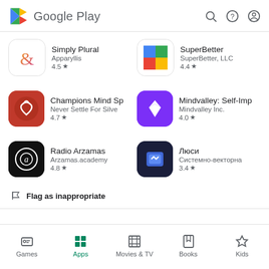Google Play
Simply Plural – Apparyllis – 4.5 ★
SuperBetter – SuperBetter, LLC – 4.4 ★
Champions Mind Sp – Never Settle For Silve – 4.7 ★
Mindvalley: Self-Imp – Mindvalley Inc. – 4.0 ★
Radio Arzamas – Arzamas.academy – 4.8 ★
Люси – Системно-векторна – 3.4 ★
Flag as inappropriate
Games | Apps | Movies & TV | Books | Kids